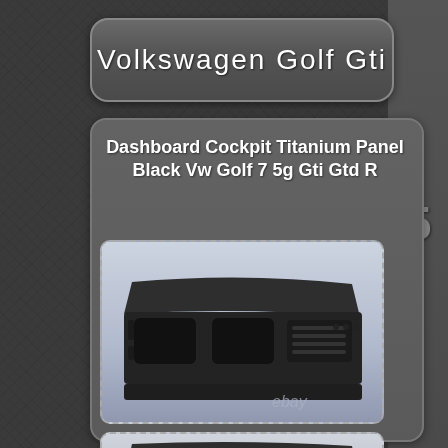Volkswagen Golf Gti
Dashboard Cockpit Titanium Panel Black Vw Golf 7 5g Gti Gtd R
[Figure (photo): Black titanium dashboard cockpit panel for VW Golf 7 5g GTi GTd R, shown from front angle against light blue background. eBay watermark visible.]
[Figure (photo): Second view of dashboard cockpit panel, partially visible at bottom of page.]